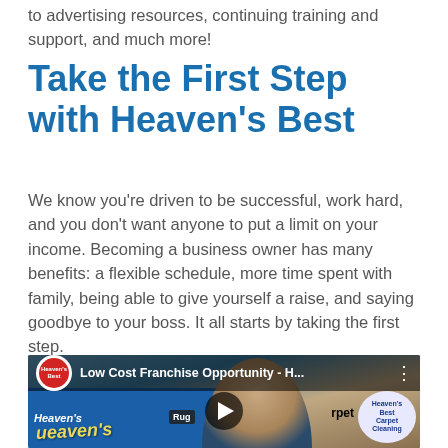to advertising resources, continuing training and support, and much more!
Take the First Step with Heaven's Best
We know you're driven to be successful, work hard, and you don't want anyone to put a limit on your income. Becoming a business owner has many benefits: a flexible schedule, more time spent with family, being able to give yourself a raise, and saying goodbye to your boss. It all starts by taking the first step.
[Figure (screenshot): YouTube video thumbnail showing a man in front of a Heaven's Best carpet cleaning van with title 'Low Cost Franchise Opportunity - H...']